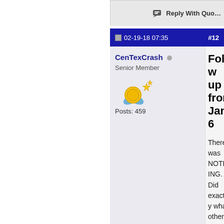Reply With Quote
02-19-18 07:35   #12
CenTexCrash
Senior Member
Posts: 459
Follow up from Jan 6
There was NOTHING.
Did exactly wha other users on the forum and the ECCO E site said